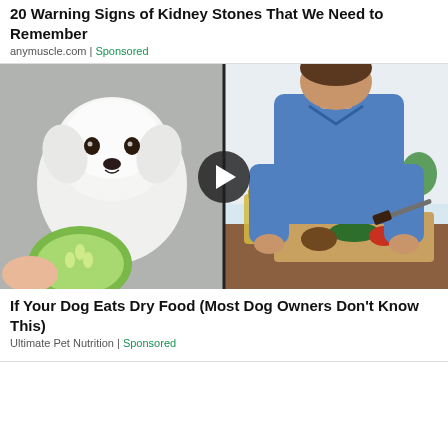20 Warning Signs of Kidney Stones That We Need to Remember
anymuscle.com | Sponsored
[Figure (photo): Split image: left side shows a fluffy white dog looking at camera with a cucumber slice in the foreground; right side shows a man in a blue shirt chopping vegetables at a kitchen counter. A play button overlay is centered on the image.]
If Your Dog Eats Dry Food (Most Dog Owners Don't Know This)
Ultimate Pet Nutrition | Sponsored